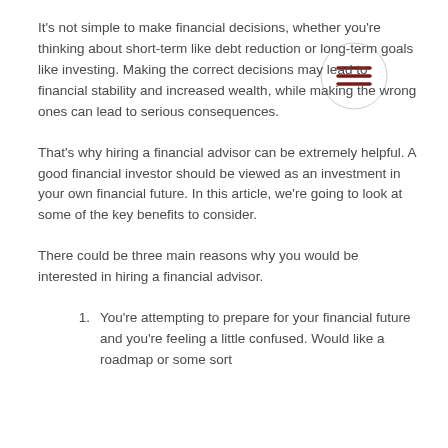It's not simple to make financial decisions, whether you're thinking about short-term like debt reduction or long-term goals like investing. Making the correct decisions may lead to financial stability and increased wealth, while making the wrong ones can lead to serious consequences.
That's why hiring a financial advisor can be extremely helpful. A good financial investor should be viewed as an investment in your own financial future. In this article, we're going to look at some of the key benefits to consider.
There could be three main reasons why you would be interested in hiring a financial advisor.
You're attempting to prepare for your financial future and you're feeling a little confused. Would like a roadmap or some sort